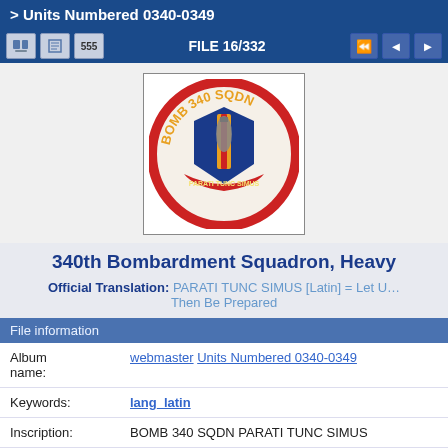> Units Numbered 0340-0349
FILE 16/332
[Figure (photo): Military squadron patch for 340th Bombardment Squadron, Heavy. Circular patch with red border, blue shield, yellow/gold vertical bar/bomb, and text reading BOMB 340 SQDN around the top and PARATI TUNC SIMUS on a banner at the bottom.]
340th Bombardment Squadron, Heavy
Official Translation: PARATI TUNC SIMUS [Latin] = Let Us Then Be Prepared
File information
| Album name: | webmaster Units Numbered 0340-0349 |
| Keywords: | lang_latin |
| Inscription: | BOMB 340 SQDN PARATI TUNC SIMUS |
| Location: | Blytheville AFB, Arkansas |